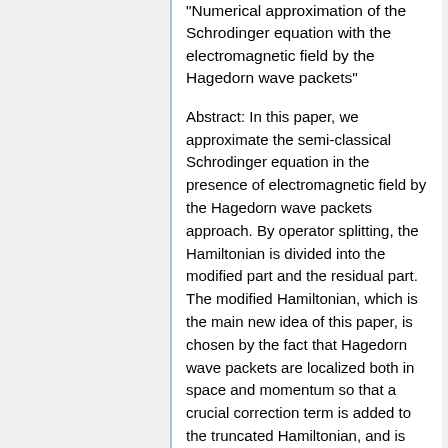"Numerical approximation of the Schrodinger equation with the electromagnetic field by the Hagedorn wave packets"
Abstract: In this paper, we approximate the semi-classical Schrodinger equation in the presence of electromagnetic field by the Hagedorn wave packets approach. By operator splitting, the Hamiltonian is divided into the modified part and the residual part. The modified Hamiltonian, which is the main new idea of this paper, is chosen by the fact that Hagedorn wave packets are localized both in space and momentum so that a crucial correction term is added to the truncated Hamiltonian, and is treated by evolving the parameters associated with the Hagedorn wave packets. The residual part is treated by a Galerkin